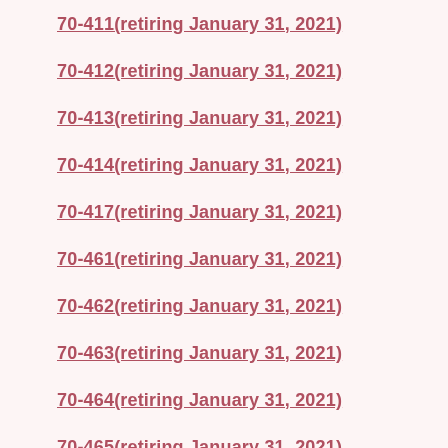70-411(retiring January 31, 2021)
70-412(retiring January 31, 2021)
70-413(retiring January 31, 2021)
70-414(retiring January 31, 2021)
70-417(retiring January 31, 2021)
70-461(retiring January 31, 2021)
70-462(retiring January 31, 2021)
70-463(retiring January 31, 2021)
70-464(retiring January 31, 2021)
70-465(retiring January 31, 2021)